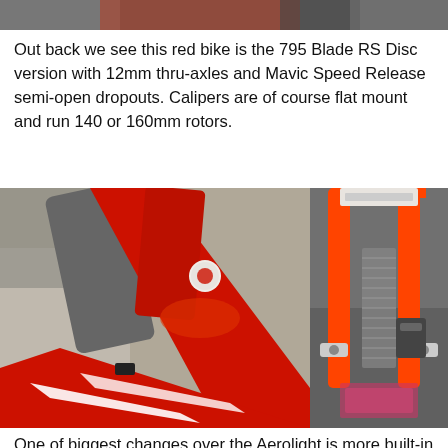[Figure (photo): Partial view of a bicycle rear area, cropped at top of page]
Out back we see this red bike is the 795 Blade RS Disc version with 12mm thru-axles and Mavic Speed Release semi-open dropouts. Calipers are of course flat mount and run 140 or 160mm rotors.
[Figure (photo): Close-up of the red 795 Blade RS Disc frame showing the rear triangle junction with white stripe accents and a badge]
[Figure (photo): Top-down view of the orange/red 795 Blade RS Disc rear end showing chain, dropouts and rear derailleur]
One of biggest changes over the Aerolight is more built-in comfort to make the 795 Blade RS more of an all-rounder. The